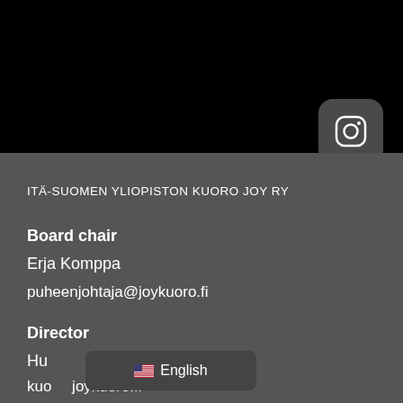[Figure (screenshot): Black top section of a mobile webpage]
[Figure (logo): Instagram icon button, rounded square, white Instagram logo on dark grey background]
ITÄ-SUOMEN YLIOPISTON KUORO JOY RY
Board chair
Erja Komppa
puheenjohtaja@joykuoro.fi
Director
Hu[partially obscured]
kuo[partially obscured]joykuoro.fi
[Figure (screenshot): Tooltip overlay showing US flag emoji and text 'English']